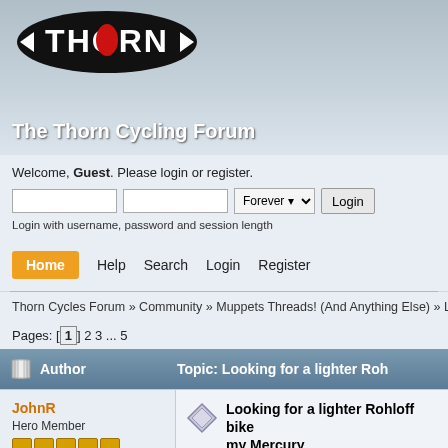[Figure (logo): Thorn brand logo: black oval with white THORN text and red oval in center, with triangular arrow marks on sides]
The Thorn Cycling Forum
Welcome, Guest. Please login or register.
Login with username, password and session length
Home  Help  Search  Login  Register
Thorn Cycles Forum » Community » Muppets Threads! (And Anything Else) » Looking fo
Pages: [1] 2 3 ... 5
| Author | Topic: Looking for a lighter Roh |
| --- | --- |
| JohnR
Hero Member
★★★★★ | Looking for a lighter Rohloff bike
my Mercury
« on: October 21, 2021, 06:58:44 PM » |